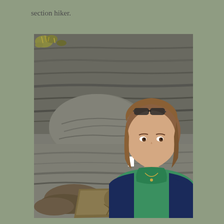section hiker.
[Figure (photo): A smiling woman with sunglasses on her head wearing a green turtleneck and navy jacket, posing in front of layered rock formations with a trail marker plaque visible in the foreground. Appears to be taken at a hiking trail summit or overlook.]